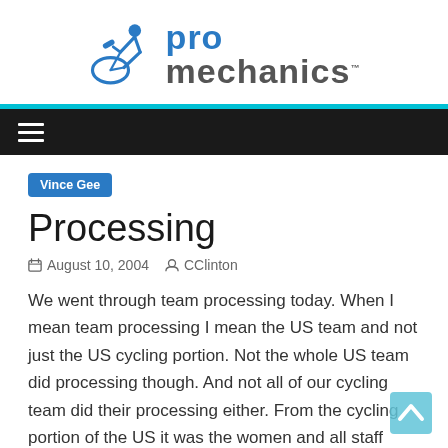[Figure (logo): Pro Mechanics logo with cyclist icon and blue/grey text reading 'pro mechanics']
Vince Gee
Processing
August 10, 2004   CClinton
We went through team processing today. When I mean team processing I mean the US team and not just the US cycling portion. Not the whole US team did processing though. And not all of our cycling team did their processing either. From the cycling portion of the US it was the women and all staff today. The road men